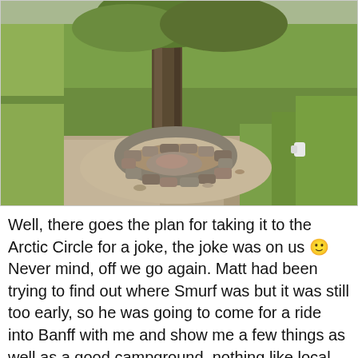[Figure (photo): Outdoor photograph showing a campfire ring made of stones on bare dirt ground, surrounded by lush green grass and vegetation. A large tree trunk is visible in the background center, with dense green bushes and grass. A small white bird or object is visible on the right side of the image.]
Well, there goes the plan for taking it to the Arctic Circle for a joke, the joke was on us 🙂 Never mind, off we go again. Matt had been trying to find out where Smurf was but it was still too early, so he was going to come for a ride into Banff with me and show me a few things as well as a good campground, nothing like local knowledge I reckon! As we got closer, the mountains loomed ever higher, they still had a bit of snow on them up high which meant cooler